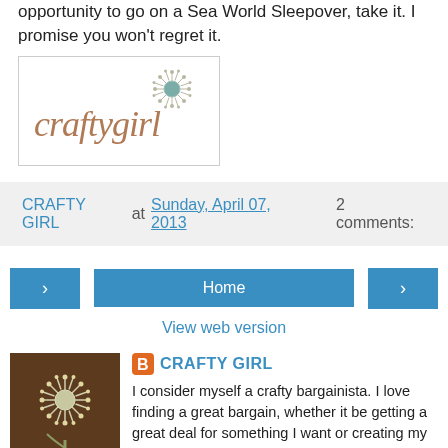opportunity to go on a Sea World Sleepover, take it. I promise you won't regret it.
[Figure (logo): Crafty Girl logo with dandelion graphic and cursive 'craftygirl' text]
CRAFTY GIRL at Sunday, April 07, 2013   2 comments:
< | Home | >
View web version
[Figure (photo): Crafty Girl profile photo: dandelion illustration on brown background]
CRAFTY GIRL
I consider myself a crafty bargainista. I love finding a great bargain, whether it be getting a great deal for something I want or creating my own version of it. In this blog, I hope to share the things that I have found, the many ideas that wonder around in my head and the many things that I end up creating. I love the dandelion because with a single gentle breeze, it disperses into the wind only to regrow into a new